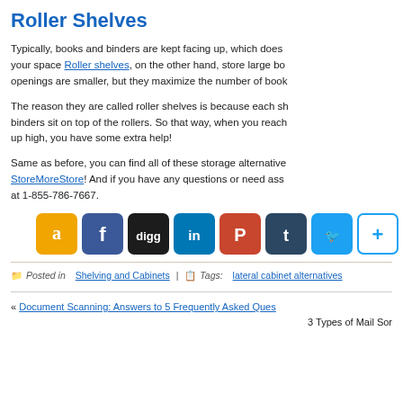Roller Shelves
Typically, books and binders are kept facing up, which does not maximize your space Roller shelves, on the other hand, store large bo... openings are smaller, but they maximize the number of book...
The reason they are called roller shelves is because each sh... binders sit on top of the rollers. So that way, when you reach up high, you have some extra help!
Same as before, you can find all of these storage alternative... StoreMoreStore! And if you have any questions or need ass... at 1-855-786-7667.
[Figure (infographic): Social media sharing icons: Amazon, Facebook, Digg, LinkedIn, Pinterest, Tumblr, Twitter, plus button]
Posted in Shelving and Cabinets | Tags: lateral cabinet alternatives
« Document Scanning: Answers to 5 Frequently Asked Ques... 3 Types of Mail Sor...